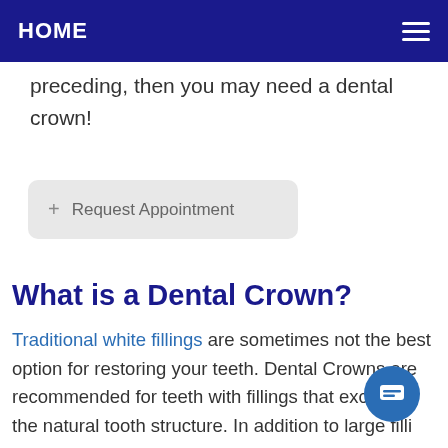HOME
preceding, then you may need a dental crown!
+ Request Appointment
What is a Dental Crown?
Traditional white fillings are sometimes not the best option for restoring your teeth. Dental Crowns are recommended for teeth with fillings that exceed the natural tooth structure. In addition to large fillings, teeth that have undergone root canal therapy along